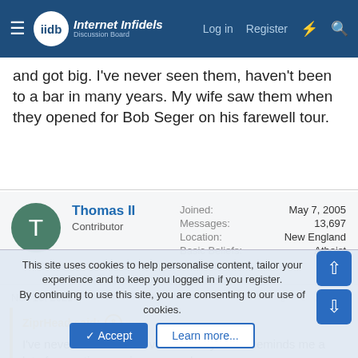Internet Infidels — Log in | Register
and got big. I've never seen them, haven't been to a bar in many years. My wife saw them when they opened for Bob Seger on his farewell tour.
Thomas II
Contributor
Joined: May 7, 2005
Messages: 13,697
Location: New England
Basic Beliefs: Atheist
Nov 10, 2021
#5,052
ZiprHead said:
I've never seen the first video. Pretty cool. Reminds me a lot of seventies renaissance rock.
This site uses cookies to help personalise content, tailor your experience and to keep you logged in if you register.
By continuing to use this site, you are consenting to our use of cookies.